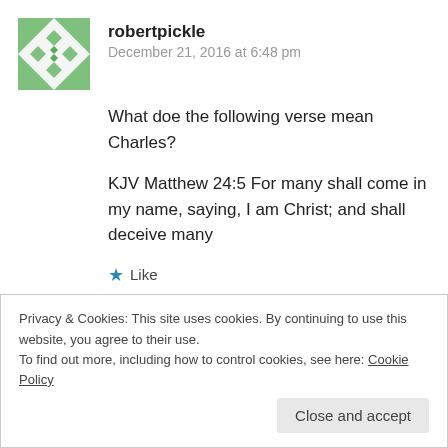[Figure (illustration): Green geometric avatar icon with diamond and triangle pattern]
robertpickle
December 21, 2016 at 6:48 pm
What doe the following verse mean Charles?
KJV Matthew 24:5 For many shall come in my name, saying, I am Christ; and shall deceive many
Like
Reply
Privacy & Cookies: This site uses cookies. By continuing to use this website, you agree to their use.
To find out more, including how to control cookies, see here: Cookie Policy
Close and accept